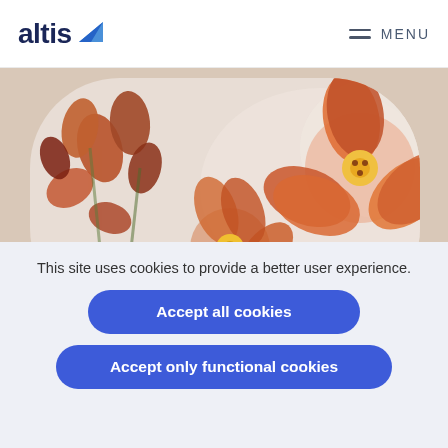altis | MENU
[Figure (photo): Close-up photo of orange/coral flowers (orchids and poppies) with white powder/flour, displayed in a rounded rectangle crop]
“Our entire business hang’s on having a stable site that can handle large order volumes. Our whole team now since SALSA’s praise on the performance
This site uses cookies to provide a better user experience.
Accept all cookies
Accept only functional cookies